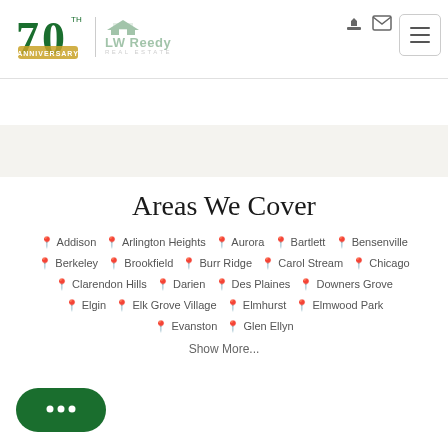[Figure (logo): LW Reedy Real Estate 70th Anniversary logo with green numerals and banner, plus house graphic]
Areas We Cover
Addison  Arlington Heights  Aurora  Bartlett  Bensenville  Berkeley  Brookfield  Burr Ridge  Carol Stream  Chicago  Clarendon Hills  Darien  Des Plaines  Downers Grove  Elgin  Elk Grove Village  Elmhurst  Elmwood Park  Evanston  Glen Ellyn
Show More...